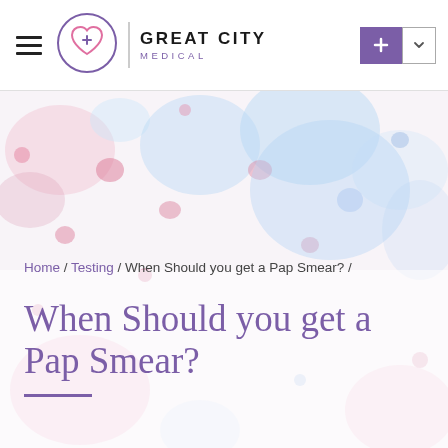[Figure (logo): Great City Medical logo with purple circle containing a heart and plus sign, followed by brand name text]
[Figure (photo): Soft pastel watercolor background image with pink and blue cell-like blobs, used as hero section background]
Home / Testing / When Should you get a Pap Smear? /
When Should you get a Pap Smear?